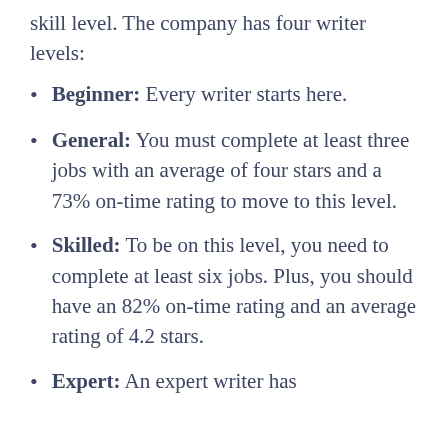skill level. The company has four writer levels:
Beginner: Every writer starts here.
General: You must complete at least three jobs with an average of four stars and a 73% on-time rating to move to this level.
Skilled: To be on this level, you need to complete at least six jobs. Plus, you should have an 82% on-time rating and an average rating of 4.2 stars.
Expert: An expert writer has